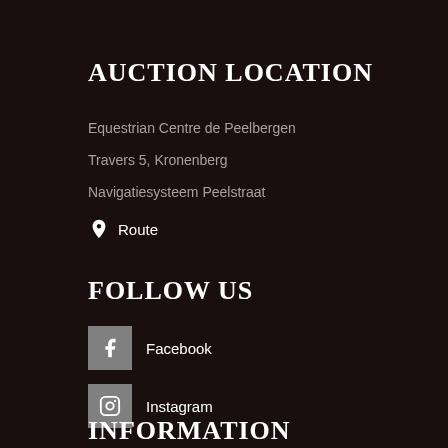AUCTION LOCATION
Equestrian Centre de Peelbergen
Travers 5, Kronenberg
Navigatiesysteem Peelstraat
Route
FOLLOW US
Facebook
Instagram
INFORMATION